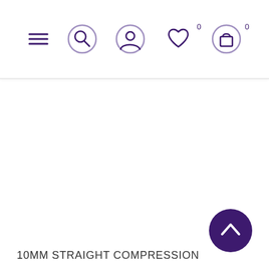Navigation bar with menu, search, account, wishlist (0), and cart (0) icons
10MM STRAIGHT COMPRESSION
[Figure (screenshot): Back to top button — dark purple circle with upward chevron arrow]